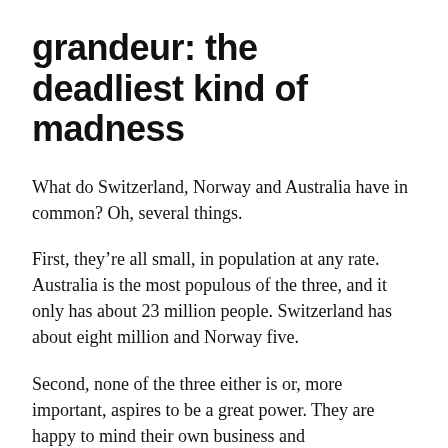grandeur: the deadliest kind of madness
What do Switzerland, Norway and Australia have in common? Oh, several things.
First, they're all small, in population at any rate. Australia is the most populous of the three, and it only has about 23 million people. Switzerland has about eight million and Norway five.
Second, none of the three either is or, more important, aspires to be a great power. They are happy to mind their own business and